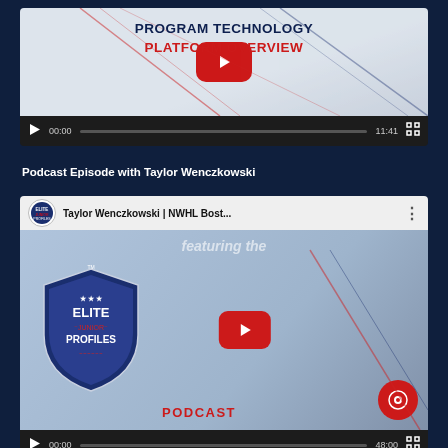[Figure (screenshot): YouTube video embed showing 'Program Technology Platform Overview' with play button, time 00:00, duration 11:41, fullscreen button]
Podcast Episode with Taylor Wenczkowski
[Figure (screenshot): YouTube video embed with Elite Junior Profiles logo, title 'Taylor Wenczkowski | NWHL Bost...' showing podcast thumbnail with Elite Junior Profiles badge, microphone, hockey player background, record button, time 00:00, duration 48:00]